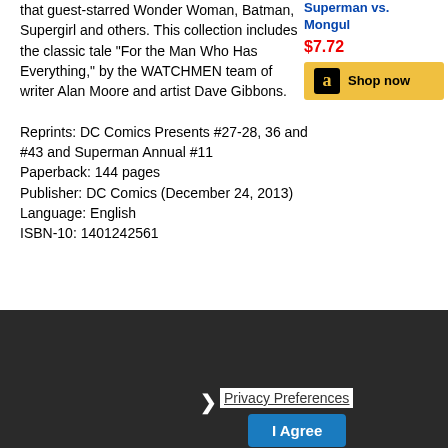that guest-starred Wonder Woman, Batman, Supergirl and others. This collection includes the classic tale “For the Man Who Has Everything,” by the WATCHMEN team of writer Alan Moore and artist Dave Gibbons.
Reprints: DC Comics Presents #27-28, 36 and #43 and Superman Annual #11
Paperback: 144 pages
Publisher: DC Comics (December 24, 2013)
Language: English
ISBN-10: 1401242561
[Figure (other): Amazon sidebar with Superman vs. Mongul title link in blue, price $7.72 in red, and yellow Shop now button with Amazon logo]
Superman vs. Darkseid (Paperback)
by John Byrne (Author), Mike McKone (Illustrator)
BEWARE THE DARKSEID! In the pantheon
[Figure (other): Amazon logo and book cover image in dark overlay section]
Privacy Preferences
I Agree